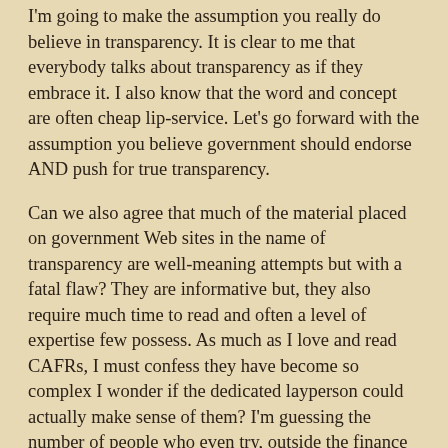I'm going to make the assumption you really do believe in transparency. It is clear to me that everybody talks about transparency as if they embrace it. I also know that the word and concept are often cheap lip-service. Let's go forward with the assumption you believe government should endorse AND push for true transparency.
Can we also agree that much of the material placed on government Web sites in the name of transparency are well-meaning attempts but with a fatal flaw? They are informative but, they also require much time to read and often a level of expertise few possess. As much as I love and read CAFRs, I must confess they have become so complex I wonder if the dedicated layperson could actually make sense of them? I'm guessing the number of people who even try, outside the finance department, could be counted on one hand with some fingers left over. That's a shame.
Lastly, as I read local government Web sites and